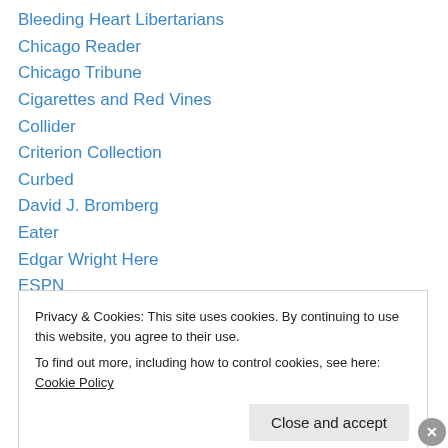Bleeding Heart Libertarians
Chicago Reader
Chicago Tribune
Cigarettes and Red Vines
Collider
Criterion Collection
Curbed
David J. Bromberg
Eater
Edgar Wright Here
ESPN
FanGraphs
Film Crit Hulk
Privacy & Cookies: This site uses cookies. By continuing to use this website, you agree to their use.
To find out more, including how to control cookies, see here: Cookie Policy